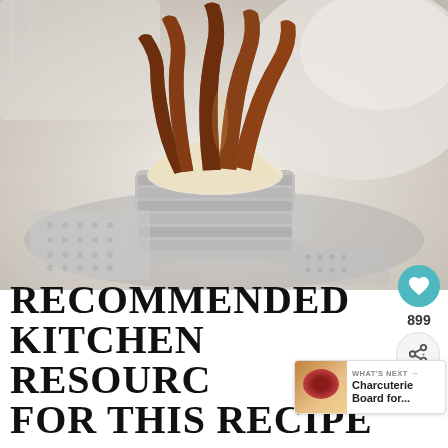[Figure (photo): Crispy bacon strips standing upright in a metal tin lined with parchment paper, placed on a metal tray with cloth in the background]
RECOMMENDED KITCHEN RESOURCES FOR THIS RECIPE
WHAT'S NEXT → Charcuterie Board for...